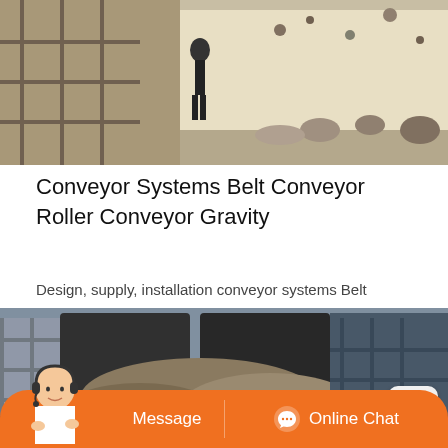[Figure (photo): Outdoor industrial/construction site with a person walking, rocky terrain, building blocks and debris in background]
Conveyor Systems Belt Conveyor Roller Conveyor Gravity
Design, supply, installation conveyor systems Belt conveyor, roller conveyor, skatewheel conveyor, hinged belt conveyor, heavy duty conveyor, gravity powered, and ...
[Figure (photo): Industrial conveyor system with large stone crusher or mill machinery, large yellow rollers, rocks and aggregate material being processed outdoors]